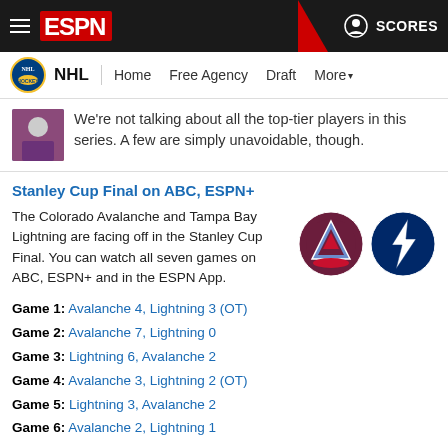ESPN | NHL — Home  Free Agency  Draft  More  | SCORES
We're not talking about all the top-tier players in this series. A few are simply unavoidable, though.
Stanley Cup Final on ABC, ESPN+
The Colorado Avalanche and Tampa Bay Lightning are facing off in the Stanley Cup Final. You can watch all seven games on ABC, ESPN+ and in the ESPN App.
Game 1: Avalanche 4, Lightning 3 (OT)
Game 2: Avalanche 7, Lightning 0
Game 3: Lightning 6, Avalanche 2
Game 4: Avalanche 3, Lightning 2 (OT)
Game 5: Lightning 3, Avalanche 2
Game 6: Avalanche 2, Lightning 1